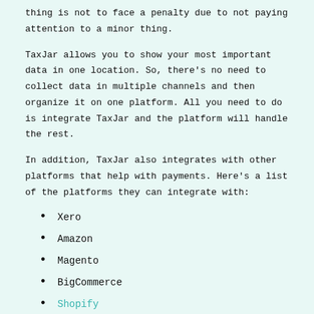thing is not to face a penalty due to not paying attention to a minor thing.
TaxJar allows you to show your most important data in one location. So, there's no need to collect data in multiple channels and then organize it on one platform. All you need to do is integrate TaxJar and the platform will handle the rest.
In addition, TaxJar also integrates with other platforms that help with payments. Here's a list of the platforms they can integrate with:
Xero
Amazon
Magento
BigCommerce
Shopify